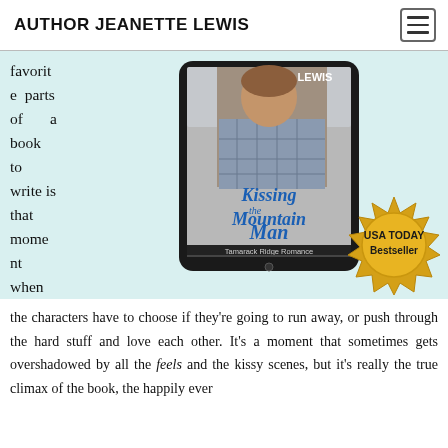AUTHOR JEANETTE LEWIS
favorite parts of a book to write is that moment when the characters have to choose if they're going to run away, or push through the hard stuff and love each other. It's a moment that sometimes gets overshadowed by all the feels and the kissy scenes, but it's really the true climax of the book, the happily ever
[Figure (photo): Book cover of 'Kissing the Mountain Man' by Jeanette Lewis displayed on a tablet/e-reader, Tamarack Ridge Romance series, with a USA TODAY Bestseller gold seal badge overlapping the bottom right of the tablet.]